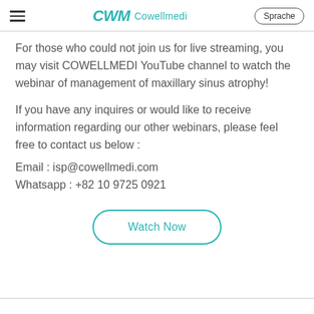CWM Cowellmedi | Sprache
For those who could not join us for live streaming, you may visit COWELLMEDI YouTube channel to watch the webinar of management of maxillary sinus atrophy!
If you have any inquires or would like to receive information regarding our other webinars, please feel free to contact us below :
Email : isp@cowellmedi.com
Whatsapp : +82 10 9725 0921
[Figure (other): Watch Now button - rounded rectangle button with teal border and teal text]